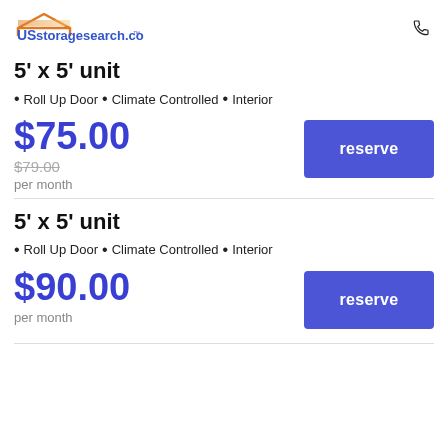USstoragesearch.com
5' x 5' unit
Roll Up Door • Climate Controlled • Interior
$75.00
$79.00 per month
5' x 5' unit
Roll Up Door • Climate Controlled • Interior
$90.00
per month